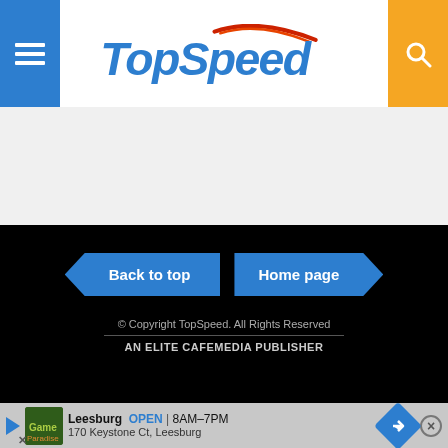TopSpeed
[Figure (logo): TopSpeed website logo with blue italic text and red speed line graphic]
Back to top
Home page
© Copyright TopSpeed. All Rights Reserved
AN ELITE CAFEMEDIA PUBLISHER
Leesburg  OPEN  8AM–7PM
170 Keystone Ct, Leesburg